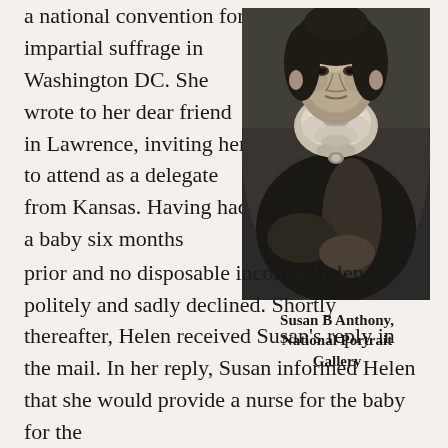a national convention for impartial suffrage in Washington DC. She wrote to her dear friend in Lawrence, inviting her to attend as a delegate from Kansas. Having had a baby six months prior and no disposable income, Helen politely and sadly declined. Shortly thereafter, Helen received Susan’s reply in the mail. In her reply, Susan informed Helen that she would provide a nurse for the baby for the
[Figure (photo): Black and white portrait photograph of Susan B Anthony, an older woman in Victorian-era dress with lace collar]
Susan B Anthony, National Portrait Gallery